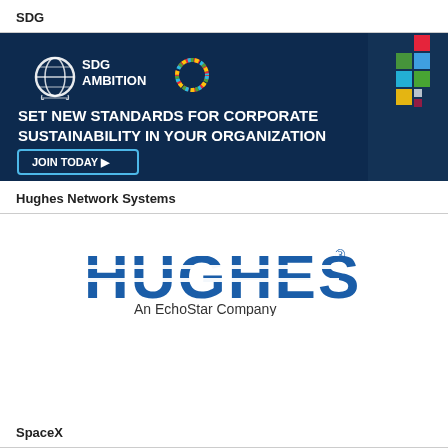SDG
[Figure (infographic): SDG Ambition banner advertisement with dark navy background. Shows SDG Ambition logo (UN globe icon + colorful wheel), headline 'SET NEW STANDARDS FOR CORPORATE SUSTAINABILITY IN YOUR ORGANIZATION', and a 'JOIN TODAY' button. Right side shows partial mountain/satellite imagery with colorful SDG squares.]
Hughes Network Systems
[Figure (logo): Hughes logo in bold blue with striped letters spelling HUGHES with registered trademark symbol, subtitle 'An EchoStar Company' in dark gray below]
SpaceX